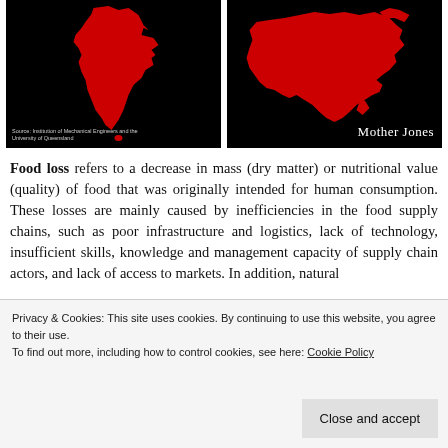[Figure (map): Two side-by-side maps on black background: left shows India in red silhouette with source credit 'Source: Institution of Mechanical Engineers and the University of Queensland'; right shows China in red silhouette with 'Mother Jones' branding in bottom right.]
Food loss refers to a decrease in mass (dry matter) or nutritional value (quality) of food that was originally intended for human consumption. These losses are mainly caused by inefficiencies in the food supply chains, such as poor infrastructure and logistics, lack of technology, insufficient skills, knowledge and management capacity of supply chain actors, and lack of access to markets. In addition, natural
Privacy & Cookies: This site uses cookies. By continuing to use this website, you agree to their use.
To find out more, including how to control cookies, see here: Cookie Policy
beyond its expiry date or left to spoil. Often this is because